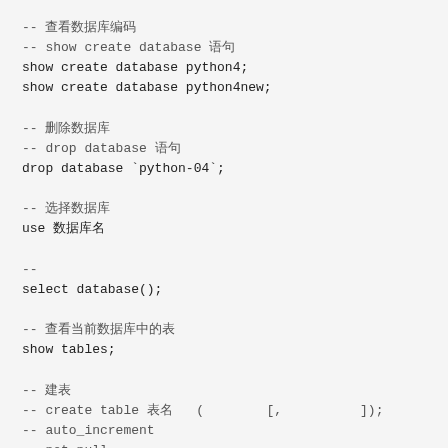-- 查看数据库编码
-- show create database 语句
show create database python4;
show create database python4new;

-- 删除数据库
-- drop database 语句
drop database `python-04`;

-- 选择数据库
use 数据库名

--
select database();

-- 查看当前数据库中的表
show tables;

-- 建表
-- create table 表名 ( 字段名 类型 [, 字段名 类型]);
-- auto_increment
-- not null
-- primary key
-- default